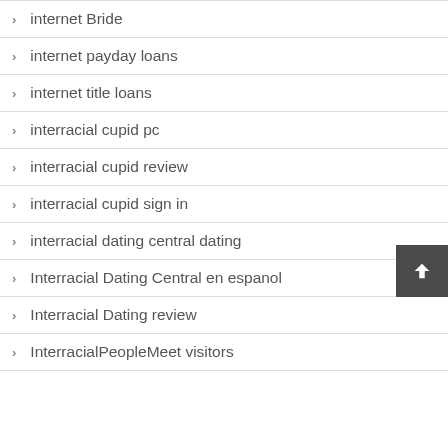internet Bride
internet payday loans
internet title loans
interracial cupid pc
interracial cupid review
interracial cupid sign in
interracial dating central dating
Interracial Dating Central en espanol
Interracial Dating review
InterracialPeopleMeet visitors